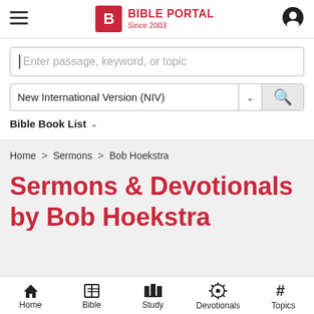BIBLE PORTAL Since 2003
[Figure (screenshot): Search bar with placeholder text 'Enter passage, keyword, or topic']
New International Version (NIV)
Bible Book List
Home > Sermons > Bob Hoekstra
Sermons & Devotionals
by Bob Hoekstra
Home  Bible  Study  Devotionals  Topics